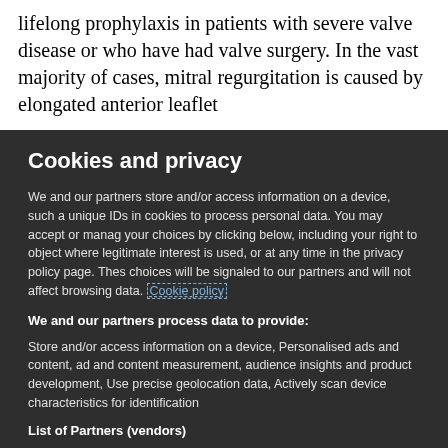lifelong prophylaxis in patients with severe valve disease or who have had valve surgery. In the vast majority of cases, mitral regurgitation is caused by elongated anterior leaflet
Cookies and privacy
We and our partners store and/or access information on a device, such as unique IDs in cookies to process personal data. You may accept or manage your choices by clicking below, including your right to object where legitimate interest is used, or at any time in the privacy policy page. These choices will be signaled to our partners and will not affect browsing data. Cookie policy
We and our partners process data to provide:
Store and/or access information on a device, Personalised ads and content, ad and content measurement, audience insights and product development, Use precise geolocation data, Actively scan device characteristics for identification
List of Partners (vendors)
I Accept